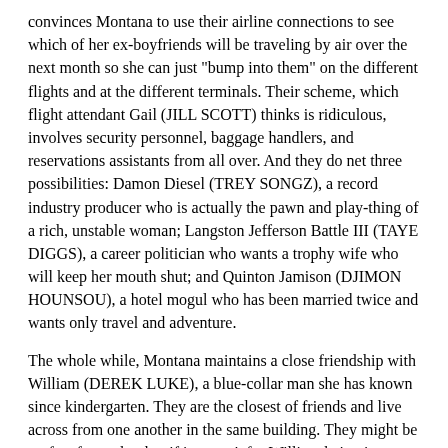convinces Montana to use their airline connections to see which of her ex-boyfriends will be traveling by air over the next month so she can just "bump into them" on the different flights and at the different terminals. Their scheme, which flight attendant Gail (JILL SCOTT) thinks is ridiculous, involves security personnel, baggage handlers, and reservations assistants from all over. And they do net three possibilities: Damon Diesel (TREY SONGZ), a record industry producer who is actually the pawn and play-thing of a rich, unstable woman; Langston Jefferson Battle III (TAYE DIGGS), a career politician who wants a trophy wife who will keep her mouth shut; and Quinton Jamison (DJIMON HOUNSOU), a hotel mogul who has been married twice and wants only travel and adventure.
The whole while, Montana maintains a close friendship with William (DEREK LUKE), a blue-collar man she has known since kindergarten. They are the closest of friends and live across from one another in the same building. They might be perfect for each other if it weren't for William being in a long-term relationship and Montana craving someone more dynamic to impress her mother and family.
OUR TAKE: 5.5 out of 10
I heard a funny thing from an audience member as the end